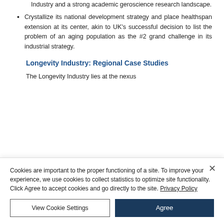Industry and a strong academic geroscience research landscape.
Crystallize its national development strategy and place healthspan extension at its center, akin to UK's successful decision to list the problem of an aging population as the #2 grand challenge in its industrial strategy.
Longevity Industry: Regional Case Studies
The Longevity Industry lies at the nexus
Cookies are important to the proper functioning of a site. To improve your experience, we use cookies to collect statistics to optimize site functionality. Click Agree to accept cookies and go directly to the site. Privacy Policy
View Cookie Settings
Agree